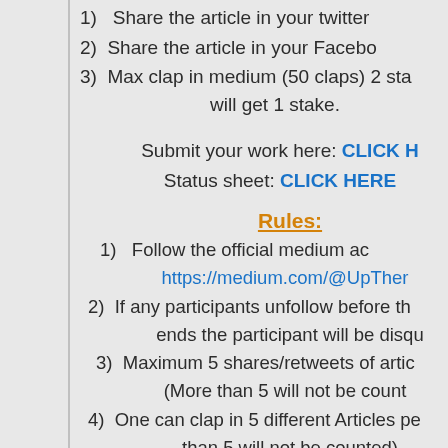1)  Share the article in your twitter
2)  Share the article in your Facebook
3)  Max clap in medium (50 claps) 2 stakes. will get 1 stake.
Submit your work here: CLICK HERE
Status sheet: CLICK HERE
Rules:
1)  Follow the official medium account https://medium.com/@UpTher
2)  If any participants unfollow before the ends the participant will be disqu
3)  Maximum 5 shares/retweets of artic (More than 5 will not be count
4)  One can clap in 5 different Articles pe than 5 will not be counted)